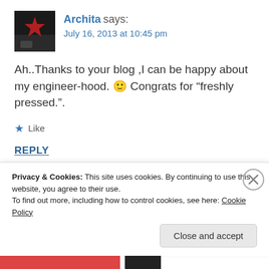[Figure (photo): Avatar image showing a dark background with a red star graphic, commenter avatar for Archita]
Archita says:
July 16, 2013 at 10:45 pm
Ah..Thanks to your blog ,I can be happy about my engineer-hood. 🙂 Congrats for “freshly pressed.”.
Like
REPLY
[Figure (photo): Partial banner image with blue-to-purple-to-pink gradient]
Privacy & Cookies: This site uses cookies. By continuing to use this website, you agree to their use.
To find out more, including how to control cookies, see here: Cookie Policy
Close and accept